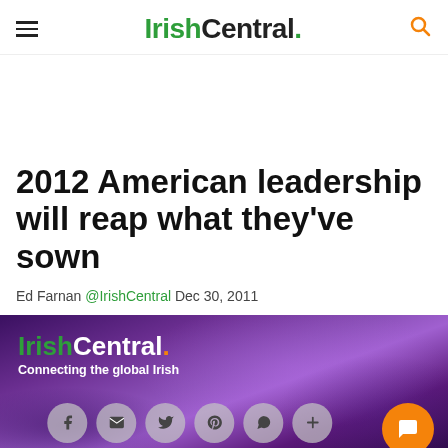IrishCentral.
2012 American leadership will reap what they've sown
Ed Farnan @IrishCentral Dec 30, 2011
[Figure (illustration): IrishCentral banner with purple sky background, logo 'IrishCentral.' with tagline 'Connecting the global Irish', social share buttons (Facebook, email, Twitter, Pinterest, WhatsApp, plus), and an orange chat/comment button in bottom right]